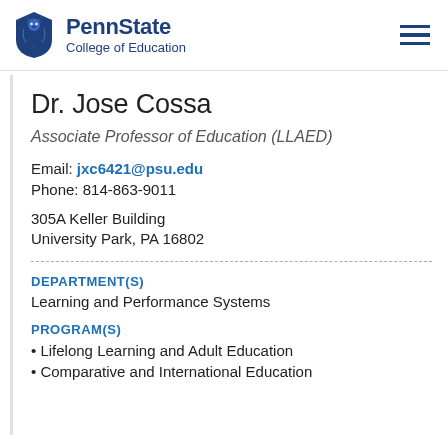PennState College of Education
Dr. Jose Cossa
Associate Professor of Education (LLAED)
Email: jxc6421@psu.edu
Phone: 814-863-9011
305A Keller Building
University Park, PA 16802
DEPARTMENT(S)
Learning and Performance Systems
PROGRAM(S)
Lifelong Learning and Adult Education
Comparative and International Education